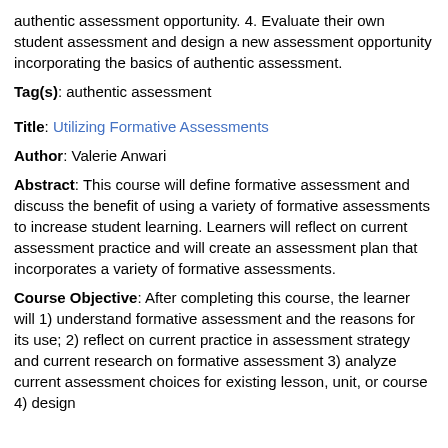authentic assessment opportunity. 4. Evaluate their own student assessment and design a new assessment opportunity incorporating the basics of authentic assessment.
Tag(s): authentic assessment
Title: Utilizing Formative Assessments
Author: Valerie Anwari
Abstract: This course will define formative assessment and discuss the benefit of using a variety of formative assessments to increase student learning. Learners will reflect on current assessment practice and will create an assessment plan that incorporates a variety of formative assessments.
Course Objective: After completing this course, the learner will 1) understand formative assessment and the reasons for its use; 2) reflect on current practice in assessment strategy and current research on formative assessment 3) analyze current assessment choices for existing lesson, unit, or course 4) design